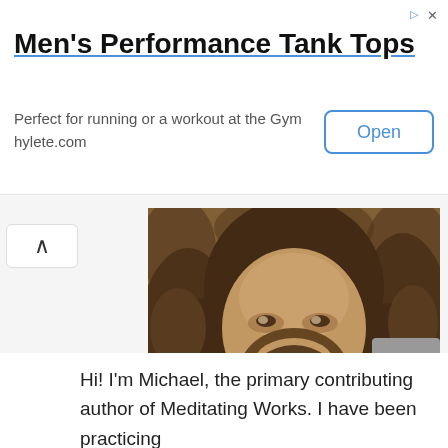Men's Performance Tank Tops
Perfect for running or a workout at the Gym
hylete.com
Open
[Figure (photo): Sepia-toned portrait of a man with long curly hair, a beard, and a knitted scarf/cowl, smiling slightly, outdoors with trees in background]
Hi! I'm Michael, the primary contributing author of Meditating Works. I have been practicing